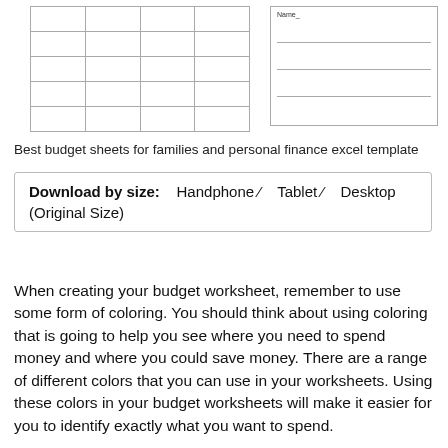[Figure (table-as-image): Partial view of a budget spreadsheet table on the left with grid lines, and a form with lines on the right side labeled 'Name']
Best budget sheets for families and personal finance excel template
Download by size:    Handphone ✓    Tablet ✓    Desktop (Original Size)
When creating your budget worksheet, remember to use some form of coloring. You should think about using coloring that is going to help you see where you need to spend money and where you could save money. There are a range of different colors that you can use in your worksheets. Using these colors in your budget worksheets will make it easier for you to identify exactly what you want to spend.